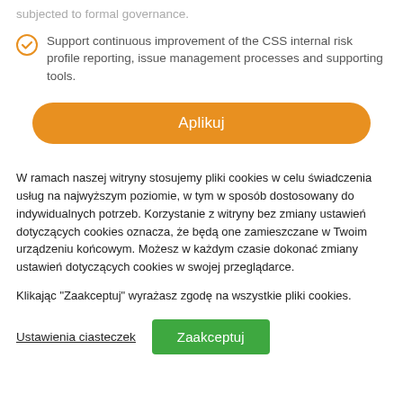subjected to formal governance.
Support continuous improvement of the CSS internal risk profile reporting, issue management processes and supporting tools.
Aplikuj
W ramach naszej witryny stosujemy pliki cookies w celu świadczenia usług na najwyższym poziomie, w tym w sposób dostosowany do indywidualnych potrzeb. Korzystanie z witryny bez zmiany ustawień dotyczących cookies oznacza, że będą one zamieszczane w Twoim urządzeniu końcowym. Możesz w każdym czasie dokonać zmiany ustawień dotyczących cookies w swojej przeglądarce.
Klikając "Zaakceptuj" wyrażasz zgodę na wszystkie pliki cookies.
Ustawienia ciasteczek
Zaakceptuj